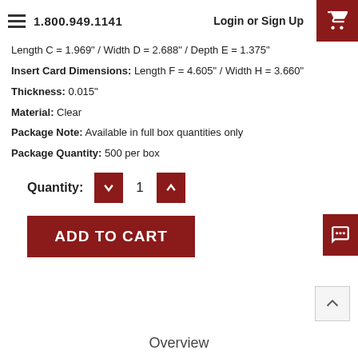1.800.949.1141  Login or Sign Up
Length C = 1.969" / Width D = 2.688" / Depth E = 1.375"
Insert Card Dimensions:  Length F = 4.605" / Width H = 3.660"
Thickness:  0.015"
Material:  Clear
Package Note:  Available in full box quantities only
Package Quantity:  500 per box
Quantity:  1
ADD TO CART
Overview